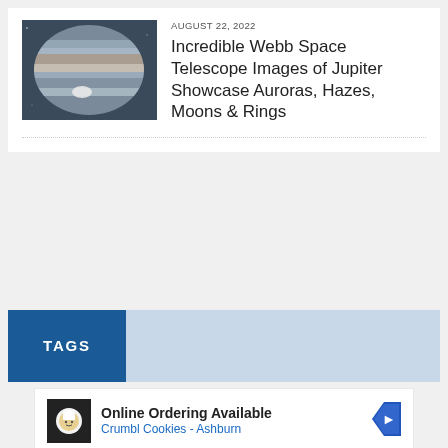[Figure (photo): Telescope image of Jupiter showing colorful bands and atmospheric features]
AUGUST 22, 2022
Incredible Webb Space Telescope Images of Jupiter Showcase Auroras, Hazes, Moons & Rings
TAGS
[Figure (advertisement): Online Ordering Available - Crumbl Cookies - Ashburn advertisement with navigation arrow icon]